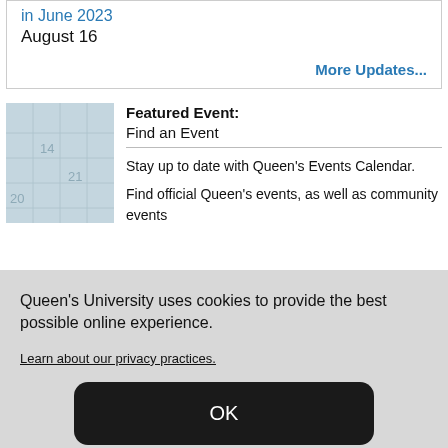in June 2023
August 16
More Updates...
[Figure (photo): Close-up photo of a calendar showing dates including 14, 20, 21]
Featured Event: Find an Event
Stay up to date with Queen's Events Calendar.
Find official Queen's events, as well as community events
Queen's University uses cookies to provide the best possible online experience.
Learn about our privacy practices.
OK